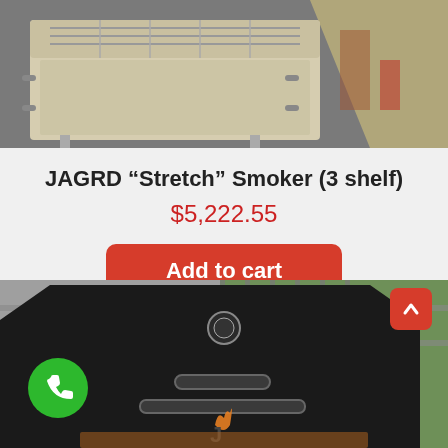[Figure (photo): Top view of a large JAGRD Stretch Smoker (3 shelf) BBQ smoker unit outdoors, cream/white colored with multiple shelves, handles, and a diagonal stripe detail visible in the background.]
JAGRD “Stretch” Smoker (3 shelf)
$5,222.55
Add to cart
[Figure (photo): Front view of a dark black metal smoker/BBQ unit with decorative flame logo, handles, and a circular gauge on the front, set outdoors near a metal fence with greenery in background.]